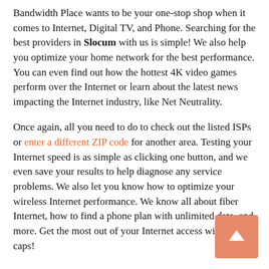Bandwidth Place wants to be your one-stop shop when it comes to Internet, Digital TV, and Phone. Searching for the best providers in Slocum with us is simple! We also help you optimize your home network for the best performance. You can even find out how the hottest 4K video games perform over the Internet or learn about the latest news impacting the Internet industry, like Net Neutrality.
Once again, all you need to do to check out the listed ISPs or enter a different ZIP code for another area. Testing your Internet speed is as simple as clicking one button, and we even save your results to help diagnose any service problems. We also let you know how to optimize your wireless Internet performance. We know all about fiber Internet, how to find a phone plan with unlimited data, and more. Get the most out of your Internet access without data caps!